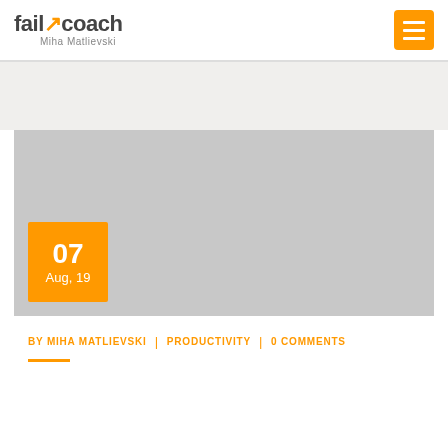fail coach Miha Matlievski
[Figure (photo): Grey placeholder image for a blog post with an orange date badge showing '07 Aug, 19']
BY MIHA MATLIEVSKI | PRODUCTIVITY | 0 COMMENTS